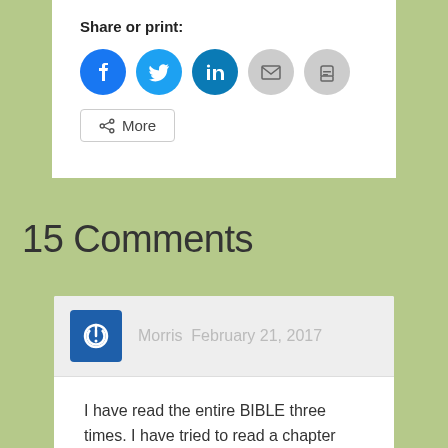Share or print:
[Figure (infographic): Row of social share icon buttons: Facebook (blue circle), Twitter (light blue circle), LinkedIn (teal circle), Email (grey circle), Print (grey circle)]
[Figure (other): More button with share icon]
15 Comments
Morris  February 21, 2017
I have read the entire BIBLE three times. I have tried to read a chapter